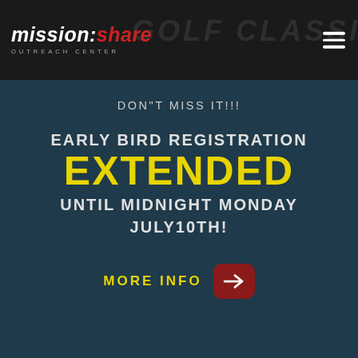mission:share OUTREACH CENTER — GOLF CLASSIC
DON"T MISS IT!!!
EARLY BIRD REGISTRATION EXTENDED UNTIL MIDNIGHT MONDAY JULY10th!
MORE INFO →